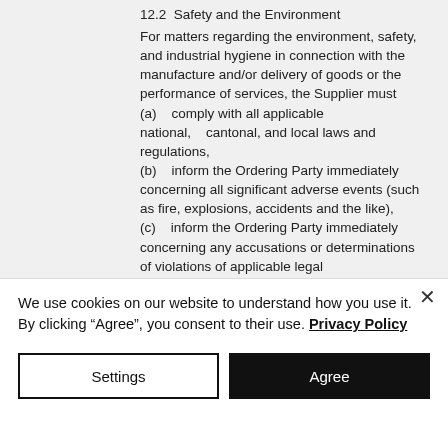12.2  Safety and the Environment
For matters regarding the environment, safety, and industrial hygiene in connection with the manufacture and/or delivery of goods or the performance of services, the Supplier must
(a)    comply with all applicable national,    cantonal, and local laws and regulations,
(b)    inform the Ordering Party immediately concerning all significant adverse events (such as fire,  explosions, accidents and the like),
(c)    inform the Ordering Party immediately concerning any accusations or determinations of violations of applicable legal
We use cookies on our website to understand how you use it. By clicking "Agree", you consent to their use. Privacy Policy
Settings
Agree